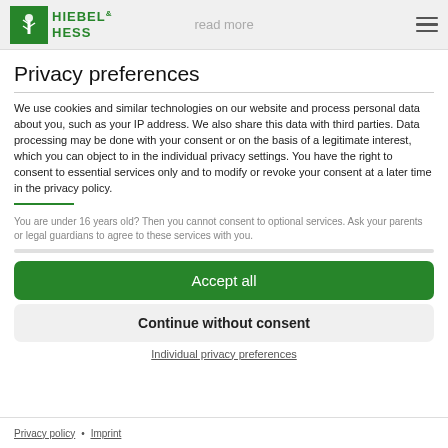read more
[Figure (logo): Hiebel & Hess green logo with stylized wheat/plant icon]
Privacy preferences
We use cookies and similar technologies on our website and process personal data about you, such as your IP address. We also share this data with third parties. Data processing may be done with your consent or on the basis of a legitimate interest, which you can object to in the individual privacy settings. You have the right to consent to essential services only and to modify or revoke your consent at a later time in the privacy policy.
You are under 16 years old? Then you cannot consent to optional services. Ask your parents or legal guardians to agree to these services with you.
Accept all
Continue without consent
Individual privacy preferences
Privacy policy • Imprint